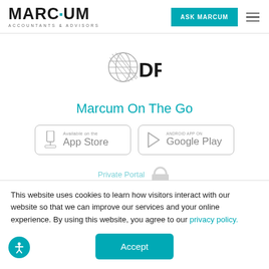MARCUM ACCOUNTANTS & ADVISORS | ASK MARCUM
[Figure (logo): DFK logo with globe/sphere graphic and bold DFK text]
Marcum On The Go
[Figure (other): App Store button - Available on the App Store]
[Figure (other): Google Play button - Android App on Google Play]
This website uses cookies to learn how visitors interact with our website so that we can improve our services and your online experience. By using this website, you agree to our privacy policy.
Accept